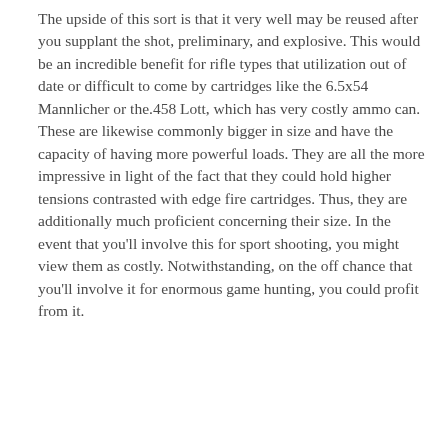The upside of this sort is that it very well may be reused after you supplant the shot, preliminary, and explosive. This would be an incredible benefit for rifle types that utilization out of date or difficult to come by cartridges like the 6.5x54 Mannlicher or the.458 Lott, which has very costly ammo can. These are likewise commonly bigger in size and have the capacity of having more powerful loads. They are all the more impressive in light of the fact that they could hold higher tensions contrasted with edge fire cartridges. Thus, they are additionally much proficient concerning their size. In the event that you'll involve this for sport shooting, you might view them as costly. Notwithstanding, on the off chance that you'll involve it for enormous game hunting, you could profit from it.